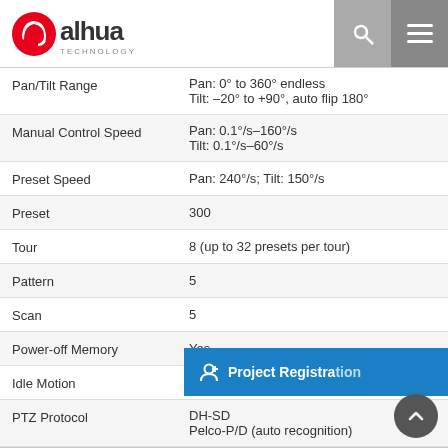[Figure (logo): Dahua Technology logo - red circular icon with stylized 'a' and 'alhua' text, 'TECHNOLOGY' below]
| Feature | Value |
| --- | --- |
| Pan/Tilt Range | Pan: 0° to 360° endless
Tilt: –20° to +90°, auto flip 180° |
| Manual Control Speed | Pan: 0.1°/s–160°/s
Tilt: 0.1°/s–60°/s |
| Preset Speed | Pan: 240°/s; Tilt: 150°/s |
| Preset | 300 |
| Tour | 8 (up to 32 presets per tour) |
| Pattern | 5 |
| Scan | 5 |
| Power-off Memory | Yes |
| Idle Motion | Preset; Tour; Pattern; Scanning |
| PTZ Protocol | DH-SD
Pelco-P/D (auto recognition) |
| Intelligence |  |
| Video Metadata | Support human, non-motor vehicle and motor vehicle and non-motor vehicle capture. |
|  | Tripwire and intrusion. Support alarm trigger, snapshot, and to overflow... |